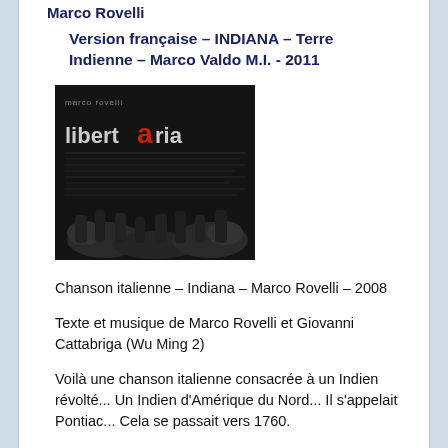Marco Rovelli
Version française – INDIANA – Terre Indienne – Marco Valdo M.I. - 2011
[Figure (photo): Album cover of 'libertaria' by Marco Rovelli – dark background with illustrated crowd and stylized red letter 'a' in 'libertaria' text]
Chanson italienne – Indiana – Marco Rovelli – 2008
Texte et musique de Marco Rovelli et Giovanni Cattabriga (Wu Ming 2)
Voilà une chanson italienne consacrée à un Indien révolté... Un Indien d'Amérique du Nord... Il s'appelait Pontiac... Cela se passait vers 1760.
Je m'en souviens assez bien, dit Lucien